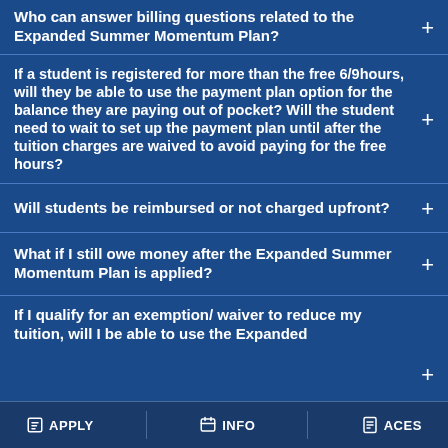Who can answer billing questions related to the Expanded Summer Momentum Plan?
If a student is registered for more than the free 6/9hours, will they be able to use the payment plan option for the balance they are paying out of pocket? Will the student need to wait to set up the payment plan until after the tuition charges are waived to avoid paying for the free hours?
Will students be reimbursed or not charged upfront?
What if I still owe money after the Expanded Summer Momentum Plan is applied?
If I qualify for an exemption/ waiver to reduce my tuition, will I be able to use the Expanded
APPLY   INFO   ACES